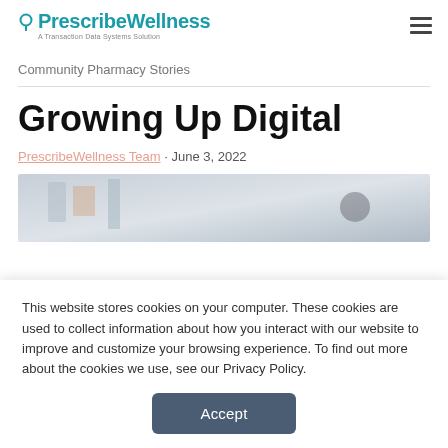PrescribeWellness — A Transaction Data Systems Solution
Community Pharmacy Stories
Growing Up Digital
PrescribeWellness Team · June 3, 2022
[Figure (photo): Blurred pharmacy or office interior scene with shelves and a person partially visible]
This website stores cookies on your computer. These cookies are used to collect information about how you interact with our website to improve and customize your browsing experience. To find out more about the cookies we use, see our Privacy Policy.